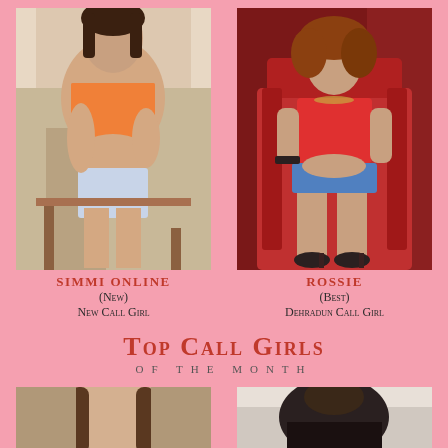[Figure (photo): Photo of woman named Simmi in orange top]
[Figure (photo): Photo of woman named Rossie in red outfit seated on red chair]
SIMMI ONLINE
(New)
New Call Girl
ROSSIE
(Best)
Dehradun Call Girl
Top Call Girls
OF THE MONTH
[Figure (photo): Partial photo of woman (bottom left)]
[Figure (photo): Partial photo of woman (bottom right)]